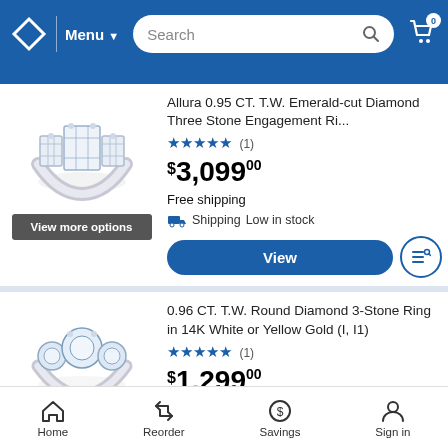Menu | Search | Cart 0
[Figure (photo): Three-stone emerald-cut diamond ring on white background]
Allura 0.95 CT. T.W. Emerald-cut Diamond Three Stone Engagement Ri...
★★★★★ (1)
$3,099.00
Free shipping
Shipping Low in stock
View more options
View
[Figure (photo): Three-stone round diamond ring on white background]
0.96 CT. T.W. Round Diamond 3-Stone Ring in 14K White or Yellow Gold (I, I1)
★★★★★ (1)
$1,299.00
Home | Reorder | Savings | Sign in